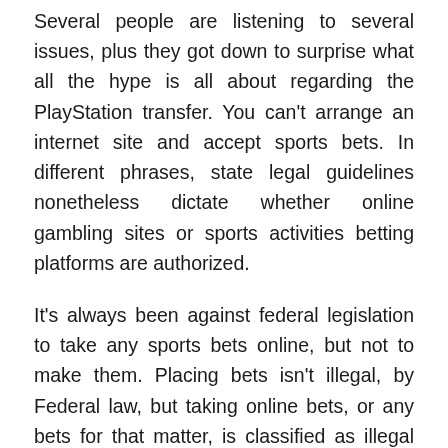Several people are listening to several issues, plus they got down to surprise what all the hype is all about regarding the PlayStation transfer. You can't arrange an internet site and accept sports bets. In different phrases, state legal guidelines nonetheless dictate whether online gambling sites or sports activities betting platforms are authorized.

It's always been against federal legislation to take any sports bets online, but not to make them. Placing bets isn't illegal, by Federal law, but taking online bets, or any bets for that matter, is classified as illegal gambling. Rentals are passive revenue for the most part, especially if you have a solid property supervisor taking charge of the details, and the other investments are sometimes icing on the cake. To be clear, taking bets is prohibited. Yes, the FBI p[image] a warning hongkong tercepat online the place they mentioned that placing bets online is illegitimate. So are